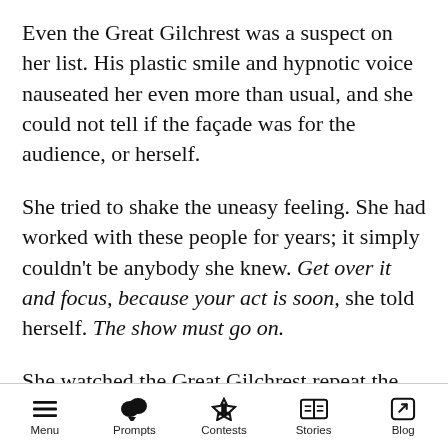Even the Great Gilchrest was a suspect on her list. His plastic smile and hypnotic voice nauseated her even more than usual, and she could not tell if the façade was for the audience, or herself.
She tried to shake the uneasy feeling. She had worked with these people for years; it simply couldn't be anybody she knew. Get over it and focus, because your act is soon, she told herself. The show must go on.
She watched the Great Gilchrest repeat the same magic acts that she'd seen a thousand times before, and remembered how spellbound she'd
Menu  Prompts  Contests  Stories  Blog